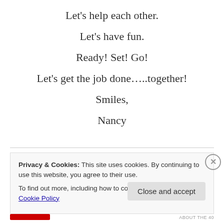Let's help each other.
Let's have fun.
Ready! Set! Go!
Let's get the job done…..together!
Smiles,
Nancy
Privacy & Cookies: This site uses cookies. By continuing to use this website, you agree to their use.
To find out more, including how to control cookies, see here: Cookie Policy
Close and accept